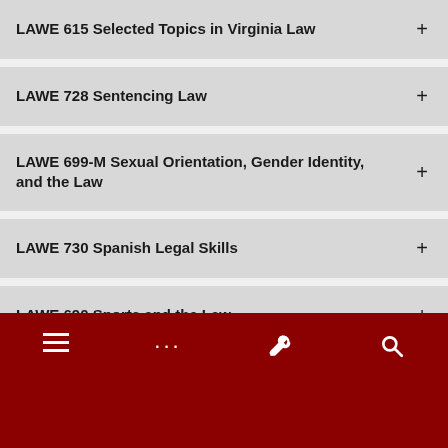LAWE 615 Selected Topics in Virginia Law
LAWE 728 Sentencing Law
LAWE 699-M Sexual Orientation, Gender Identity, and the Law
LAWE 730 Spanish Legal Skills
LAWE 690 Sports and the Law
LAWE 684 Start-up Accelerator Practicum
Navigation bar with menu, more, tools, and search icons